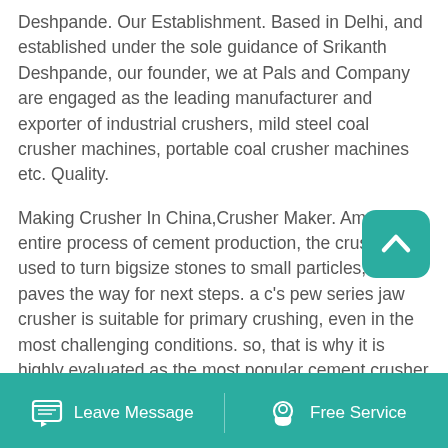Deshpande. Our Establishment. Based in Delhi, and established under the sole guidance of Srikanth Deshpande, our founder, we at Pals and Company are engaged as the leading manufacturer and exporter of industrial crushers, mild steel coal crusher machines, portable coal crusher machines etc. Quality.
Making Crusher In China,Crusher Maker. Among the entire process of cement production, the crusher is used to turn bigsize stones to small particles, which paves the way for next steps. a c's pew series jaw crusher is suitable for primary crushing, even in the most challenging conditions. so, that is why it is highly evaluated as the most popular cement crusher in pakistan.
[Figure (other): Teal scroll-to-top button with upward chevron arrow icon]
Leave Message   Free Service